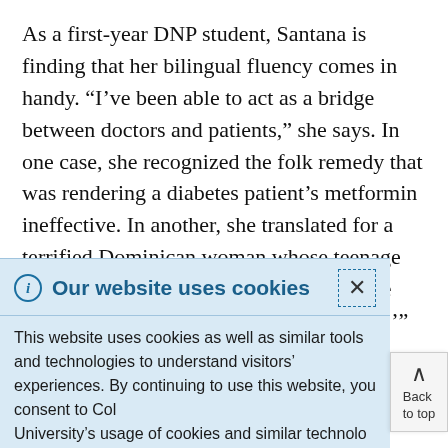As a first-year DNP student, Santana is finding that her bilingual fluency comes in handy. “I’ve been able to act as a bridge between doctors and patients,” she says. In one case, she recognized the folk remedy that was rendering a diabetes patient’s metformin ineffective. In another, she translated for a terrified Dominican woman whose teenage son was experiencing a seizure aura. “She grabbed my hand like ‘Please don’t leave,’”
Our website uses cookies
This website uses cookies as well as similar tools and technologies to understand visitors’ experiences. By continuing to use this website, you consent to Columbia University’s usage of cookies and similar technologies in accordance with the Columbia University Website Cookie Notice.